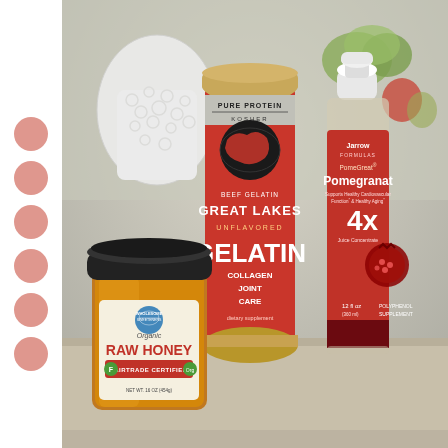[Figure (photo): A kitchen countertop photo showing three health/food products: a jar of Wholesome Sweeteners Organic Raw Honey (Fairtrade Certified, 16 oz/454g), a red canister of Great Lakes Pure Protein Kosher Beef Gelatin (Unflavored, Collagen Joint Care dietary supplement), and a glass bottle of Jarrow Formulas PomeGreat Pomegranate concentrate (4x, 12 fl oz, polyphenol supplement). Background includes a white decorative vase and blurred fruits. A column of salmon/coral-colored circles decorates the left side.]